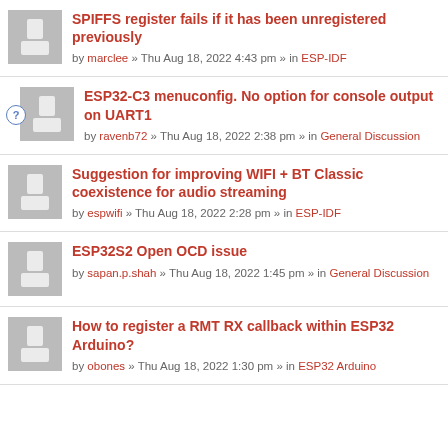SPIFFS register fails if it has been unregistered previously
by marclee » Thu Aug 18, 2022 4:43 pm » in ESP-IDF
ESP32-C3 menuconfig. No option for console output on UART1
by ravenb72 » Thu Aug 18, 2022 2:38 pm » in General Discussion
Suggestion for improving WIFI + BT Classic coexistence for audio streaming
by espwifi » Thu Aug 18, 2022 2:28 pm » in ESP-IDF
ESP32S2 Open OCD issue
by sapan.p.shah » Thu Aug 18, 2022 1:45 pm » in General Discussion
How to register a RMT RX callback within ESP32 Arduino?
by obones » Thu Aug 18, 2022 1:30 pm » in ESP32 Arduino